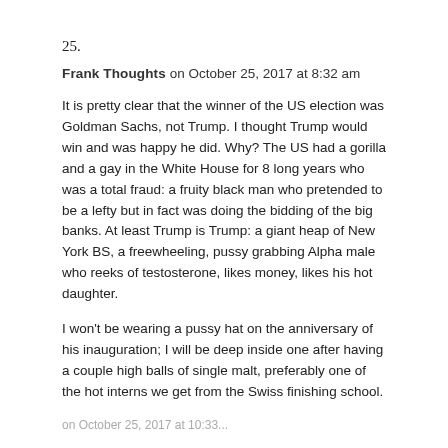25.
Frank Thoughts on October 25, 2017 at 8:32 am
It is pretty clear that the winner of the US election was Goldman Sachs, not Trump. I thought Trump would win and was happy he did. Why? The US had a gorilla and a gay in the White House for 8 long years who was a total fraud: a fruity black man who pretended to be a lefty but in fact was doing the bidding of the big banks. At least Trump is Trump: a giant heap of New York BS, a freewheeling, pussy grabbing Alpha male who reeks of testosterone, likes money, likes his hot daughter.
I won't be wearing a pussy hat on the anniversary of his inauguration; I will be deep inside one after having a couple high balls of single malt, preferably one of the hot interns we get from the Swiss finishing school.